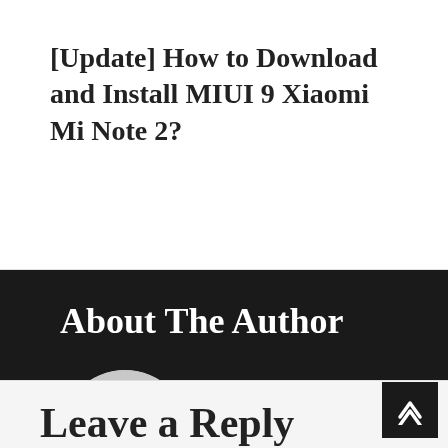[Update] How to Download and Install MIUI 9 Xiaomi Mi Note 2?
About The Author
[Figure (illustration): Circular user avatar placeholder with grey background showing a white silhouette of a person (head and shoulders)]
Official Lineageos
Leave a Reply